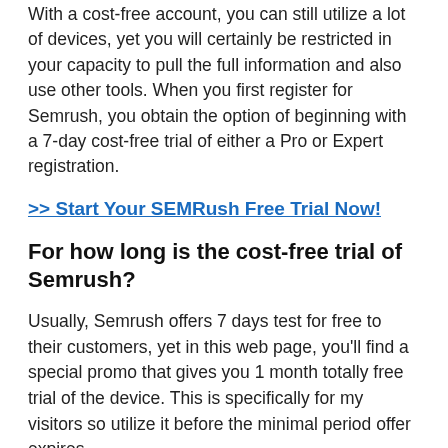With a cost-free account, you can still utilize a lot of devices, yet you will certainly be restricted in your capacity to pull the full information and also use other tools. When you first register for Semrush, you obtain the option of beginning with a 7-day cost-free trial of either a Pro or Expert registration.
>> Start Your SEMRush Free Trial Now!
For how long is the cost-free trial of Semrush?
Usually, Semrush offers 7 days test for free to their customers, yet in this web page, you’ll find a special promo that gives you 1 month totally free trial of the device. This is specifically for my visitors so utilize it before the minimal period offer expires.